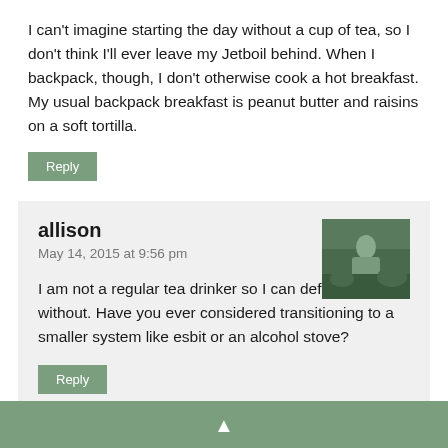I can't imagine starting the day without a cup of tea, so I don't think I'll ever leave my Jetboil behind. When I backpack, though, I don't otherwise cook a hot breakfast. My usual backpack breakfast is peanut butter and raisins on a soft tortilla.
Reply
allison
May 14, 2015 at 9:56 pm
[Figure (photo): Small square thumbnail photo of a person hiking on a rocky trail, appearing to show outdoor/nature scenery with green tones]
I am not a regular tea drinker so I can definitely do without. Have you ever considered transitioning to a smaller system like esbit or an alcohol stove?
Reply
▲